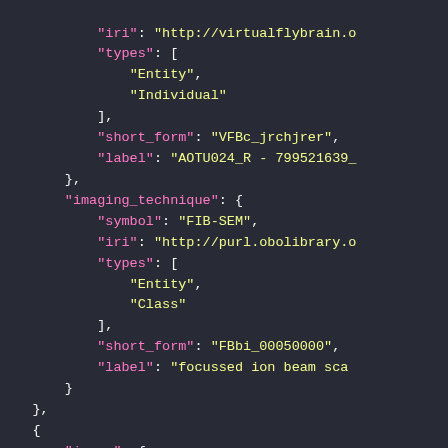[Figure (screenshot): JSON code snippet displayed in a dark-themed code editor showing nested JSON structure with keys: iri, types (Entity, Individual), short_form (VFBc_jrchjrer), label (AOTU024_R - 799521639_), imaging_technique with symbol (FIB-SEM), iri (http://purl.obolibrary.o...), types (Entity, Class), short_form (FBbi_00050000), label (focussed ion beam sca...), followed by closing braces and a new image key.]